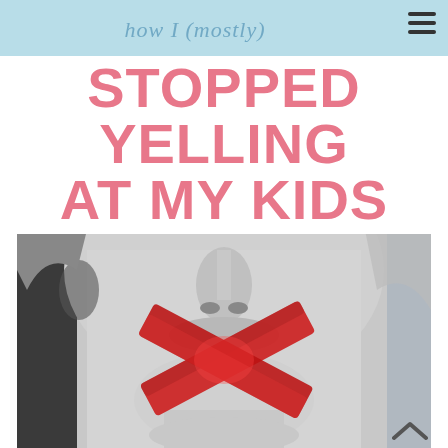how I (mostly)
STOPPED YELLING AT MY KIDS
[Figure (photo): Black and white close-up photo of a woman's lower face with mouth taped shut with red X-shaped tape, symbolizing stopping yelling.]
^